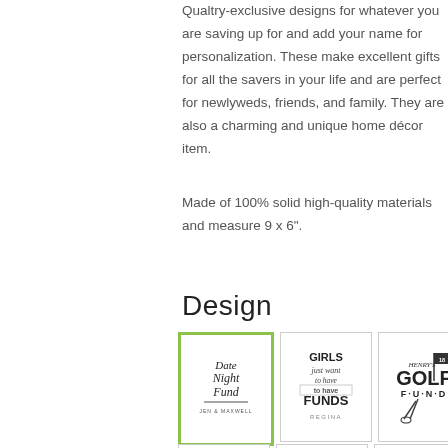Qualtry-exclusive designs for whatever you are saving up for and add your name for personalization. These make excellent gifts for all the savers in your life and are perfect for newlyweds, friends, and family. They are also a charming and unique home décor item.
Made of 100% solid high-quality materials and measure 9 x 6".
Design
[Figure (photo): Three product thumbnail images showing personalized savings bank designs: 'Date Night Fund' (selected with green border), 'Girls just want to have FUNDS - Regina', and 'Henry's Golf Fund'. A grey chat button is visible on the right.]